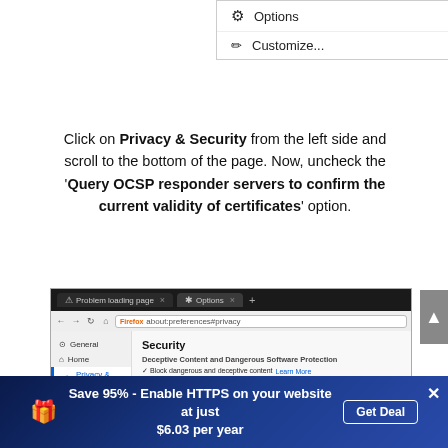[Figure (screenshot): Browser menu showing Options (gear icon) and Customize... (paintbrush icon) items]
Click on Privacy & Security from the left side and scroll to the bottom of the page. Now, uncheck the 'Query OCSP responder servers to confirm the current validity of certificates' option.
[Figure (screenshot): Firefox browser screenshot showing the Privacy & Security settings page with Security section visible and Privacy & Security highlighted in the sidebar]
Save 95% - Enable HTTPS on your website at just $6.03 per year  Get Deal